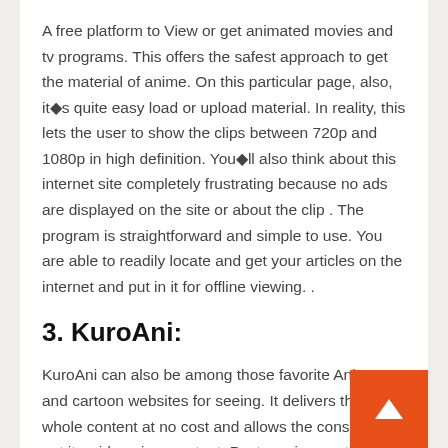A free platform to View or get animated movies and tv programs. This offers the safest approach to get the material of anime. On this particular page, also, it●s quite easy load or upload material. In reality, this lets the user to show the clips between 720p and 1080p in high definition. You●ll also think about this internet site completely frustrating because no ads are displayed on the site or about the clip . The program is straightforward and simple to use. You are able to readily locate and get your articles on the internet and put in it for offline viewing. .
3. KuroAni:
KuroAni can also be among those favorite Anime and cartoon websites for seeing. It delivers the whole content at no cost and allows the consumer to get its wide anime content. Past movies, on this webpage, you might also stream music TV episodes and shows. The clip may be obtained on the internet by the customer. The authentication doesn●t want accessibility to the contents